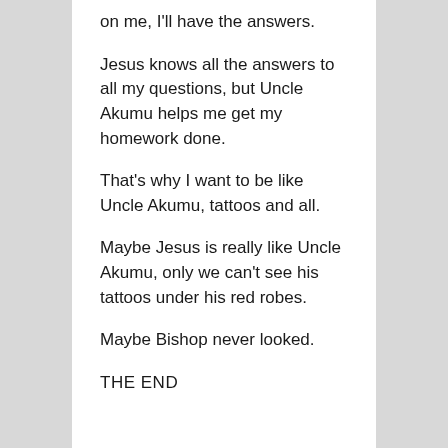on me, I'll have the answers.
Jesus knows all the answers to all my questions, but Uncle Akumu helps me get my homework done.
That's why I want to be like Uncle Akumu, tattoos and all.
Maybe Jesus is really like Uncle Akumu, only we can't see his tattoos under his red robes.
Maybe Bishop never looked.
THE END